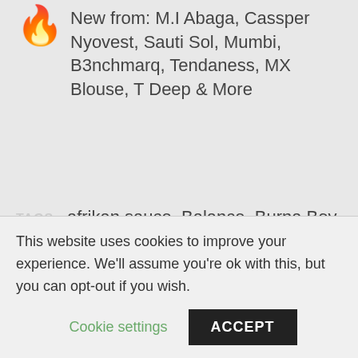🔥 New from: M.I Abaga, Cassper Nyovest, Sauti Sol, Mumbi, B3nchmarq, Tendaness, MX Blouse, T Deep & More
TAGS afrikan sauce, Balance, Burna Boy, FInally, ghana, JayK, JayK Futhi, JMolley, Kenya, Medasi, Nigeria, OBT, OBT Medasi, Okazaki Millz, Pappy Kojo, Patoranking, Ricco, Sauti Sol, Terry Tha Rapman, Thabsie, Twi
Sorry, the comment form is closed at this time.
This website uses cookies to improve your experience. We'll assume you're ok with this, but you can opt-out if you wish.